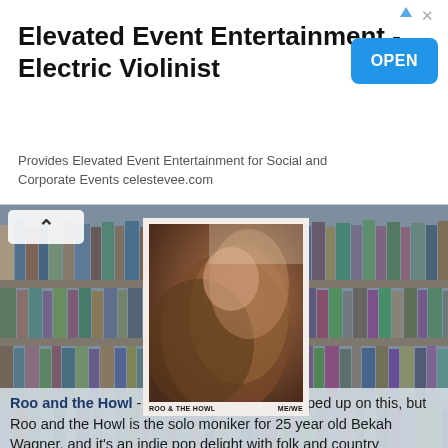[Figure (infographic): Advertisement banner for Elevated Event Entertainment - Electric Violinist with OPEN button]
Elevated Event Entertainment - Electric Violinist
Provides Elevated Event Entertainment for Social and Corporate Events celestevee.com
[Figure (photo): Album cover art for Roo & The Howl ME/WE showing a woman with flowing brown hair against a bookshelf background]
Roo and the Howl - Me/We: I forget how I tripped up on this, but Roo and the Howl is the solo moniker for 25 year old Bekah Wagner, and it's an indie pop delight with folk and country undertones from start to finish. A lot of catchy songs, her voice is gorgeous and haunting, there's little negative I can say about this. Possibly one of the better albums of the